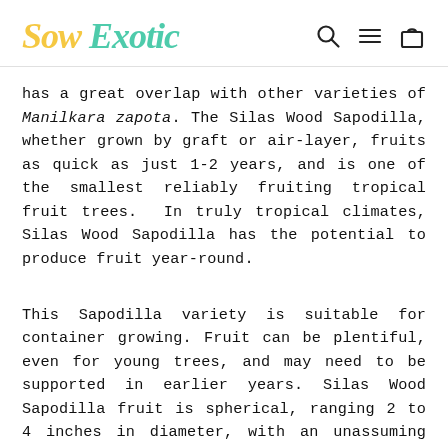Sow Exotic
has a great overlap with other varieties of Manilkara zapota. The Silas Wood Sapodilla, whether grown by graft or air-layer, fruits as quick as just 1-2 years, and is one of the smallest reliably fruiting tropical fruit trees.  In truly tropical climates, Silas Wood Sapodilla has the potential to produce fruit year-round.
This Sapodilla variety is suitable for container growing. Fruit can be plentiful, even for young trees, and may need to be supported in earlier years. Silas Wood Sapodilla fruit is spherical, ranging 2 to 4 inches in diameter, with an unassuming pear-like caramel brown skin. When the fruit is ripe, Alano Sapodilla ranks among some of the most luxurious flavors and